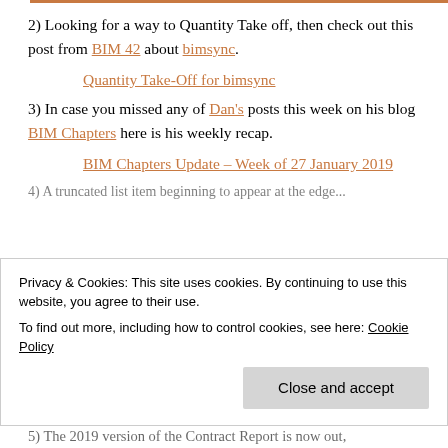2) Looking for a way to Quantity Take off, then check out this post from BIM 42 about bimsync.
Quantity Take-Off for bimsync
3) In case you missed any of Dan's posts this week on his blog BIM Chapters here is his weekly recap.
BIM Chapters Update – Week of 27 January 2019
4) A truncated/partial item beginning...
Privacy & Cookies: This site uses cookies. By continuing to use this website, you agree to their use. To find out more, including how to control cookies, see here: Cookie Policy
Close and accept
5) The 2019 version of the Contract Report is now out,